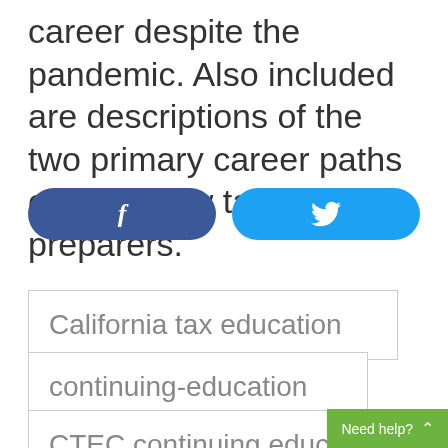career despite the pandemic. Also included are descriptions of the two primary career paths open to new tax preparers.
[Figure (other): Facebook share button (dark blue rounded rectangle with 'f' icon) and Twitter share button (light blue rounded rectangle with bird icon)]
California tax education
continuing-education
CTEC continuing educ